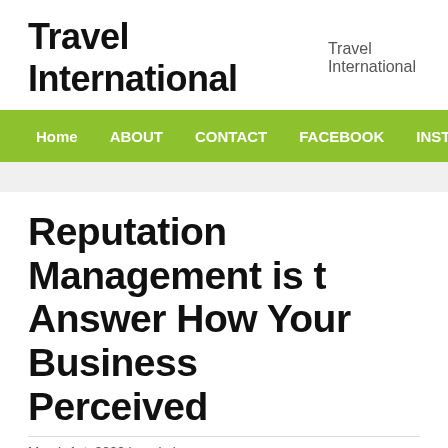Travel International   Travel International
Home   ABOUT   CONTACT   FACEBOOK   INSTAGRAM   PRIVACY POL...
Reputation Management is the Answer How Your Business is Perceived
March 1st, 2022 by admin
Is it true that you are keen on finding out about dealing with your standing, searching for accommodating and solid data? Indeed, this article will ensure ideas. It will assist you with sorting out some way to more readily deal with
Posting data via online media locales is essential to your business' stand...